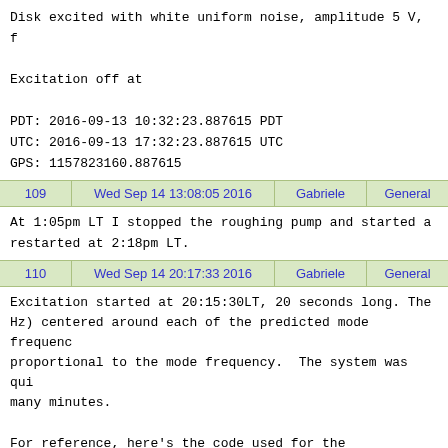Disk excited with white uniform noise, amplitude 5 V, f

Excitation off at

PDT: 2016-09-13 10:32:23.887615 PDT
UTC: 2016-09-13 17:32:23.887615 UTC
GPS: 1157823160.887615
| 109 | Wed Sep 14 13:08:05 2016 | Gabriele | General |
| --- | --- | --- | --- |
At 1:05pm LT I stopped the roughing pump and started a
restarted at 2:18pm LT.
| 110 | Wed Sep 14 20:17:33 2016 | Gabriele | General |
| --- | --- | --- | --- |
Excitation started at 20:15:30LT, 20 seconds long. The
Hz) centered around each of the predicted mode frequenc
proportional to the mode frequency.  The system was qui
many minutes.

For reference, here's the code used for the excitation:
from noise import *
from numpy import *
# loadtxt(lpredicted_modes.txt)